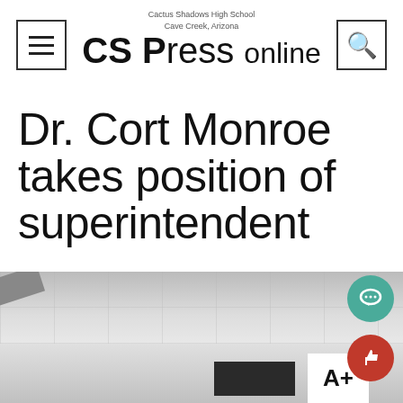CS Press online — Cactus Shadows High School, Cave Creek, Arizona
Dr. Cort Monroe takes position of superintendent
[Figure (photo): Black and white/grayscale photo of a school hallway interior showing ceiling tiles, corridor walls, and partial view of a sign and A+ grade badge in the lower portion.]